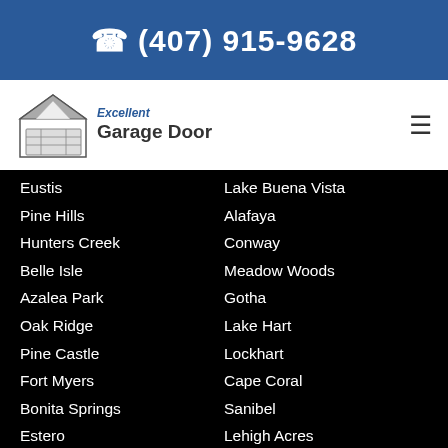📞 (407) 915-9628
[Figure (logo): Excellent Garage Door logo with house/garage illustration]
Eustis
Lake Buena Vista
Pine Hills
Alafaya
Hunters Creek
Conway
Belle Isle
Meadow Woods
Azalea Park
Gotha
Oak Ridge
Lake Hart
Pine Castle
Lockhart
Fort Myers
Cape Coral
Bonita Springs
Sanibel
Estero
Lehigh Acres